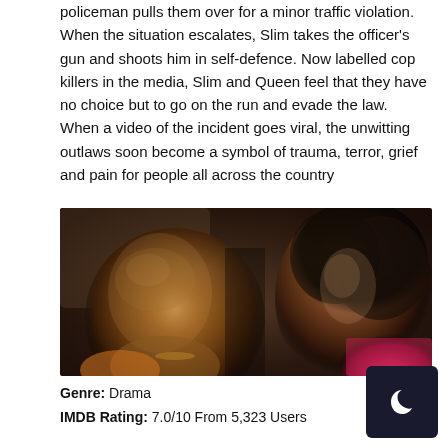policeman pulls them over for a minor traffic violation. When the situation escalates, Slim takes the officer's gun and shoots him in self-defence. Now labelled cop killers in the media, Slim and Queen feel that they have no choice but to go on the run and evade the law. When a video of the incident goes viral, the unwitting outlaws soon become a symbol of trauma, terror, grief and pain for people all across the country
[Figure (photo): Close-up photo of two people — a bald Black man in the foreground looking at camera, and a Black woman with natural afro hair behind him, wearing a pink top, also looking at camera. Dark, cinematic lighting.]
Genre: Drama
IMDB Rating: 7.0/10 From 5,323 Users